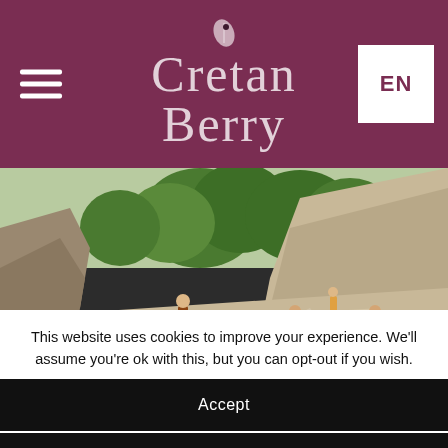Cretan Berry | EN
[Figure (photo): Hikers walking through a rocky gorge with large boulders and green trees, resembling Samaria Gorge in Crete, Greece.]
This website uses cookies to improve your experience. We'll assume you're ok with this, but you can opt-out if you wish.
Accept
Reject
Read More